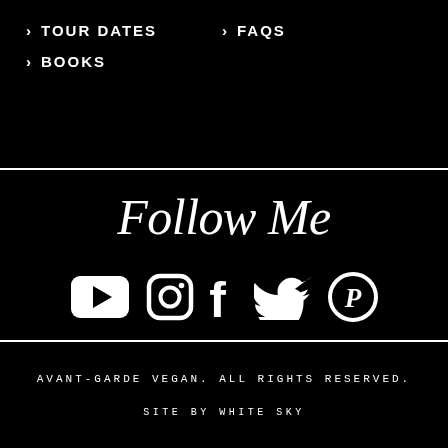> TOUR DATES
> FAQS
> BOOKS
Follow Me
[Figure (illustration): Five social media icons in white on black background: YouTube play button (rounded rectangle with triangle), Instagram camera outline, Facebook 'f', Twitter bird, Pinterest 'P' circle]
AVANT-GARDE VEGAN. ALL RIGHTS RESERVED.

SITE BY WHITE SKY